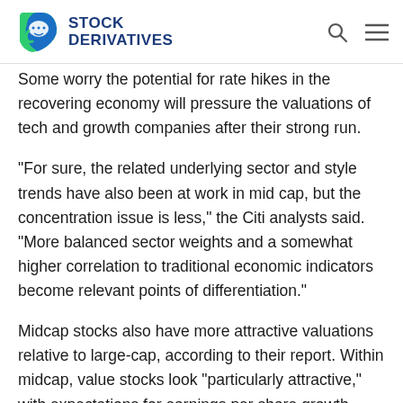STOCK DERIVATIVES
Some worry the potential for rate hikes in the recovering economy will pressure the valuations of tech and growth companies after their strong run.
“For sure, the related underlying sector and style trends have also been at work in mid cap, but the concentration issue is less,” the Citi analysts said. “More balanced sector weights and a somewhat higher correlation to traditional economic indicators become relevant points of differentiation.”
Midcap stocks also have more attractive valuations relative to large-cap, according to their report. Within midcap, value stocks look “particularly attractive,” with expectations for earnings per share growth appearing historically high yet